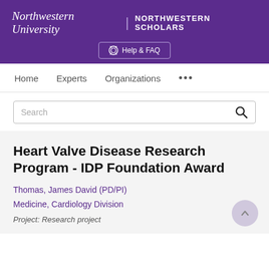Northwestern University | NORTHWESTERN SCHOLARS
Help & FAQ
Home   Experts   Organizations   ...
Search
Heart Valve Disease Research Program - IDP Foundation Award
Thomas, James David (PD/PI)
Medicine, Cardiology Division
Project: Research project